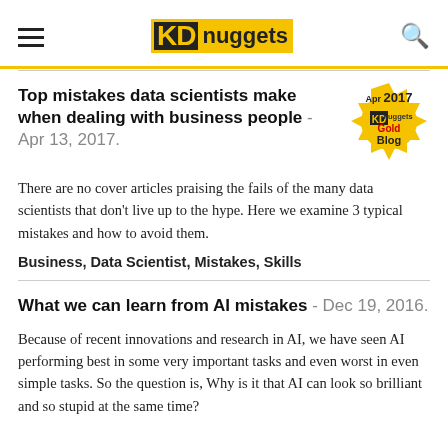KDnuggets
Top mistakes data scientists make when dealing with business people - Apr 13, 2017.
[Figure (logo): KDnuggets Apr 2017 Gold Blog badge — gold starburst seal with text 'Apr 2017 KD nuggets Gold Blog']
There are no cover articles praising the fails of the many data scientists that don't live up to the hype. Here we examine 3 typical mistakes and how to avoid them.
Business, Data Scientist, Mistakes, Skills
What we can learn from AI mistakes - Dec 19, 2016.
Because of recent innovations and research in AI, we have seen AI performing best in some very important tasks and even worst in even simple tasks. So the question is, Why is it that AI can look so brilliant and so stupid at the same time?